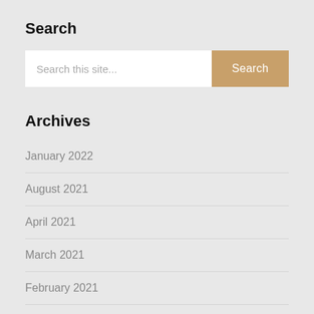Search
[Figure (screenshot): Search input field with placeholder 'Search this site...' and a tan/gold 'Search' button]
Archives
January 2022
August 2021
April 2021
March 2021
February 2021
January 2021